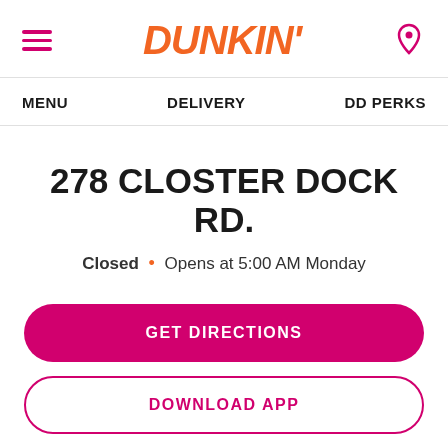DUNKIN'
MENU   DELIVERY   DD PERKS
278 CLOSTER DOCK RD.
Closed • Opens at 5:00 AM Monday
GET DIRECTIONS
DOWNLOAD APP